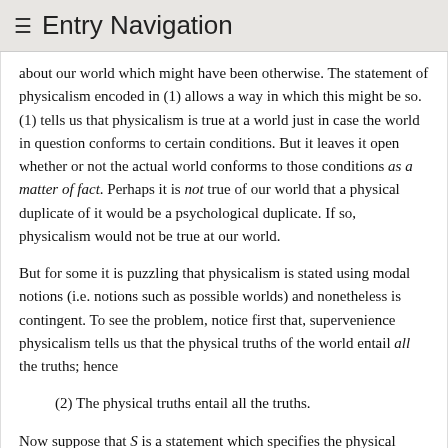≡ Entry Navigation
about our world which might have been otherwise. The statement of physicalism encoded in (1) allows a way in which this might be so. (1) tells us that physicalism is true at a world just in case the world in question conforms to certain conditions. But it leaves it open whether or not the actual world conforms to those conditions as a matter of fact. Perhaps it is not true of our world that a physical duplicate of it would be a psychological duplicate. If so, physicalism would not be true at our world.
But for some it is puzzling that physicalism is stated using modal notions (i.e. notions such as possible worlds) and nonetheless is contingent. To see the problem, notice first that, supervenience physicalism tells us that the physical truths of the world entail all the truths; hence
(2) The physical truths entail all the truths.
Now suppose that S is a statement which specifies the physical nature of the actual world and S* is a statement which specifies the total nature of the world. (It might be